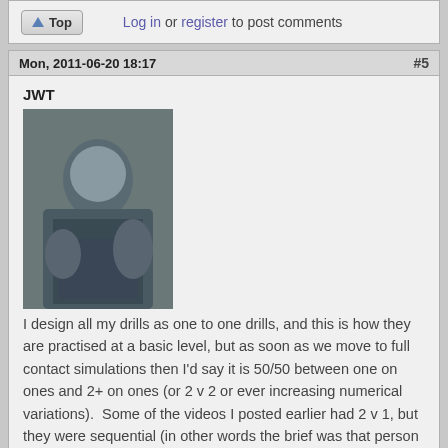Top  Log in or register to post comments
Mon, 2011-06-20 18:17  #5
JWT
[Figure (photo): Profile photo of user JWT showing a person in martial arts training]
I design all my drills as one to one drills, and this is how they are practised at a basic level, but as soon as we move to full contact simulations then I'd say it is 50/50 between one on ones and 2+ on ones (or 2 v 2 or ever increasing numerical variations).  Some of the videos I posted earlier had 2 v 1, but they were sequential (in other words the brief was that person two would only attack after person one, even though for the defender the 'threat' of two people is there) and I regard those as one on one attacks.
I work this way because (according to the most